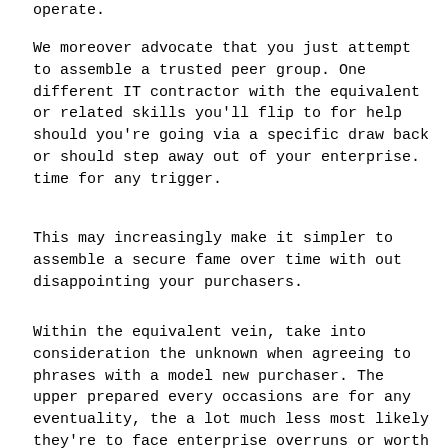operate.
We moreover advocate that you just attempt to assemble a trusted peer group. One different IT contractor with the equivalent or related skills you'll flip to for help should you're going via a specific draw back or should step away out of your enterprise. time for any trigger.
This may increasingly make it simpler to assemble a secure fame over time with out disappointing your purchasers.
Within the equivalent vein, take into consideration the unknown when agreeing to phrases with a model new purchaser. The upper prepared every occasions are for any eventuality, the a lot much less most likely they're to face enterprise overruns or worth